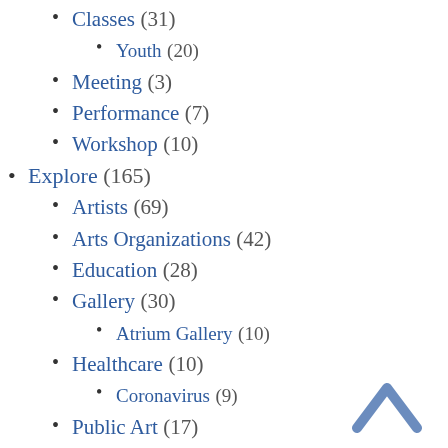Classes (31)
Youth (20)
Meeting (3)
Performance (7)
Workshop (10)
Explore (165)
Artists (69)
Arts Organizations (42)
Education (28)
Gallery (30)
Atrium Gallery (10)
Healthcare (10)
Coronavirus (9)
Public Art (17)
Federal funding (3)
Grants (194)
Opportunities (77)
Recipients (26)
Rhode Island Expansion Arts Program (1)